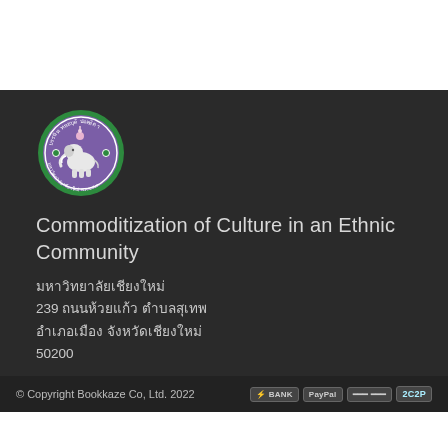[Figure (logo): Chiang Mai University seal/logo: circular green border with Thai text, purple background with white elephant and decorative motifs]
Commoditization of Culture in an Ethnic Community
มหาวิทยาลัยเชียงใหม่
239 ถนนห้วยแก้ว ตำบลสุเทพ
อำเภอเมือง จังหวัดเชียงใหม่
50200
© Copyright Bookkaze Co, Ltd. 2022